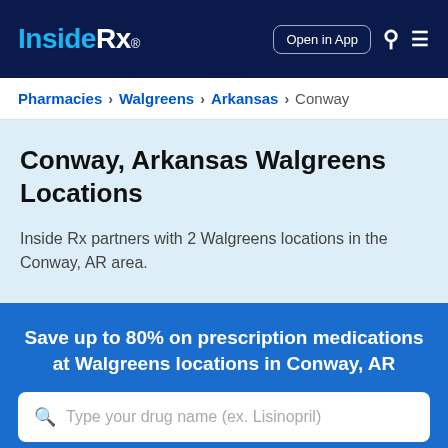Inside Rx® | Open in App
Pharmacies > Walgreens > Arkansas > Conway
Conway, Arkansas Walgreens Locations
Inside Rx partners with 2 Walgreens locations in the Conway, AR area.
Save up to 80% on prescription medications at Walgreens locations in Conway, AR
Type your drug name (ex. Lisinopril)